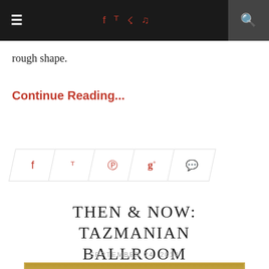≡  f  Twitter  RSS  Music  Search
rough shape.
Continue Reading...
[Figure (other): Social sharing button bar with icons: Facebook, Twitter, Pinterest, Google+, Comments]
THEN & NOW: TAZMANIAN BALLROOM
SEPTEMBER 24, 2014
[Figure (photo): Partial view of a framed photograph on a gold/dark background, bottom of page]